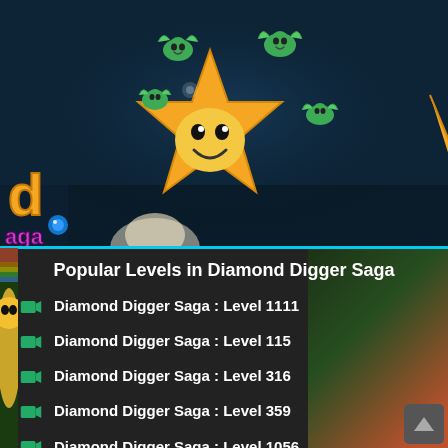[Figure (screenshot): Screenshot of Diamond Digger Saga game with animated star character and small creatures on a dark teal background, with game logo partially visible on the left.]
Popular Levels in Diamond Digger Saga
Diamond Digger Saga : Level 1111
Diamond Digger Saga : Level 115
Diamond Digger Saga : Level 316
Diamond Digger Saga : Level 359
Diamond Digger Saga : Level 1056